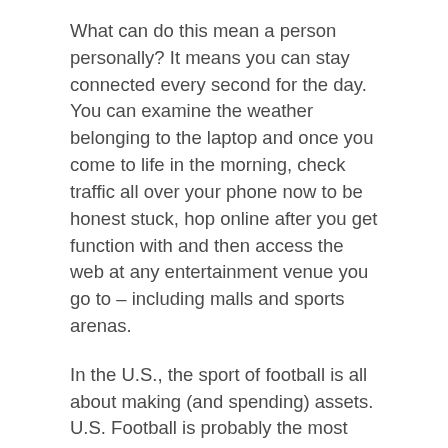What can do this mean a person personally? It means you can stay connected every second for the day. You can examine the weather belonging to the laptop and once you come to life in the morning, check traffic all over your phone now to be honest stuck, hop online after you get function with and then access the web at any entertainment venue you go to – including malls and sports arenas.
In the U.S., the sport of football is all about making (and spending) assets. U.S. Football is probably the most successful professional sports league in the earth. They are estimated to earn US$9B every twelve months!
Watch the news, see the newspaper and take everything in. Hopefully they'll find a way to fix this issue and the U.S. football season defintely won't be impacted, but no appear happens we'll all far superior